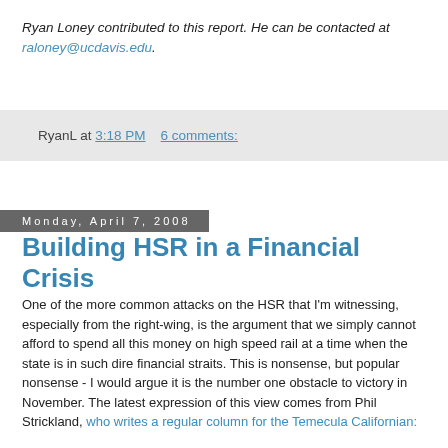Ryan Loney contributed to this report. He can be contacted at raloney@ucdavis.edu.
RyanL at 3:18 PM    6 comments:
Monday, April 7, 2008
Building HSR in a Financial Crisis
One of the more common attacks on the HSR that I'm witnessing, especially from the right-wing, is the argument that we simply cannot afford to spend all this money on high speed rail at a time when the state is in such dire financial straits. This is nonsense, but popular nonsense - I would argue it is the number one obstacle to victory in November. The latest expression of this view comes from Phil Strickland, who writes a regular column for the Temecula Californian: